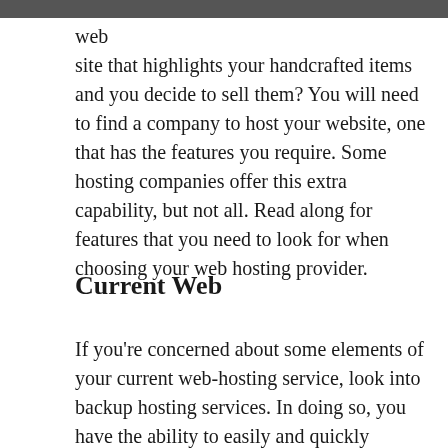[Figure (photo): Gray image bar at top of page]
web site that highlights your handcrafted items and you decide to sell them? You will need to find a company to host your website, one that has the features you require. Some hosting companies offer this extra capability, but not all. Read along for features that you need to look for when choosing your web hosting provider.
Current Web
If you're concerned about some elements of your current web-hosting service, look into backup hosting services. In doing so, you have the ability to easily and quickly transfer to